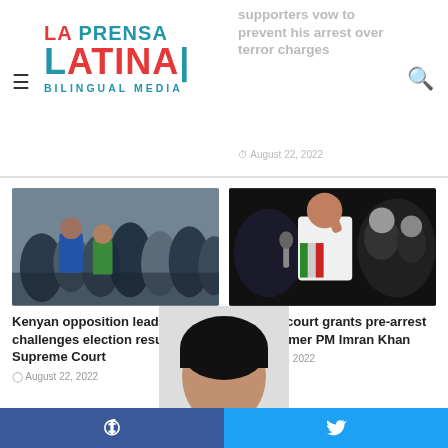La Prensa Latina Bilingual Media
supporters vow to prevent his arrest over terror charges — August 22, 2022
[Figure (photo): Kenyan crowd of people, opposition supporters gathered together]
Kenyan opposition leader challenges election results at Supreme Court
August 22, 2022
[Figure (photo): Pakistan politician Imran Khan waving to crowd at night rally]
Pakistan court grants pre-arrest bail to former PM Imran Khan
August 22, 2022
[Figure (photo): Partial photo of a person with dark hair, bottom of page]
Facebook share | Twitter share